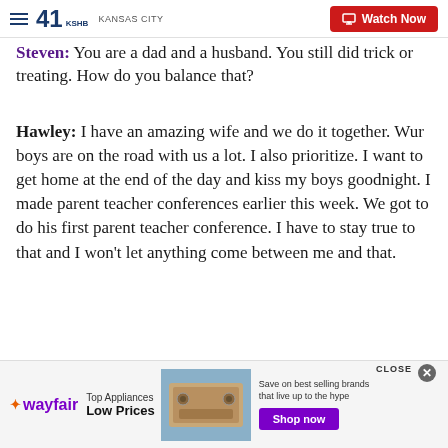41 KSHB KANSAS CITY | Watch Now
Steven: You are a dad and a husband. You still did trick or treating. How do you balance that?
Hawley: I have an amazing wife and we do it together. Wur boys are on the road with us a lot. I also prioritize. I want to get home at the end of the day and kiss my boys goodnight. I made parent teacher conferences earlier this week. We got to do his first parent teacher conference. I have to stay true to that and I won't let anything come between me and that.
[Figure (screenshot): Wayfair advertisement banner: Top Appliances Low Prices, Save on best selling brands that live up to the hype, Shop now button]